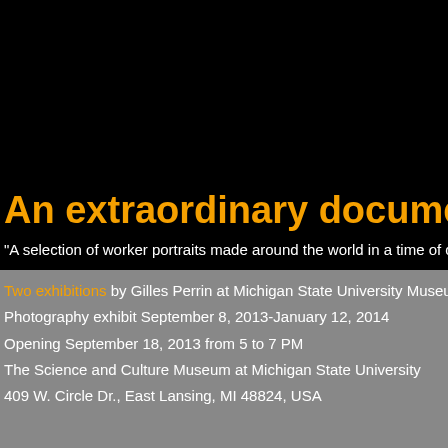An extraordinary document o
“A selection of worker portraits made around the world in a time of change th
Two exhibitions by Gilles Perrin at Michigan State University Museum
Photography exhibit September 8, 2013-January 12, 2014
Opening September 18, 2013 from 5 to 7 PM
The Science and Culture Museum at Michigan State University
409 W. Circle Dr., East Lansing, MI 48824, USA